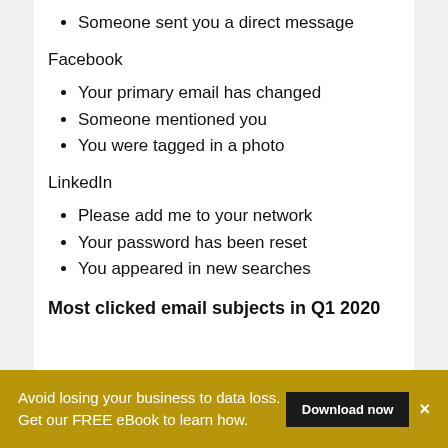Someone sent you a direct message
Facebook
Your primary email has changed
Someone mentioned you
You were tagged in a photo
LinkedIn
Please add me to your network
Your password has been reset
You appeared in new searches
Most clicked email subjects in Q1 2020
Avoid losing your business to data loss. Get our FREE eBook to learn how. Download now ×